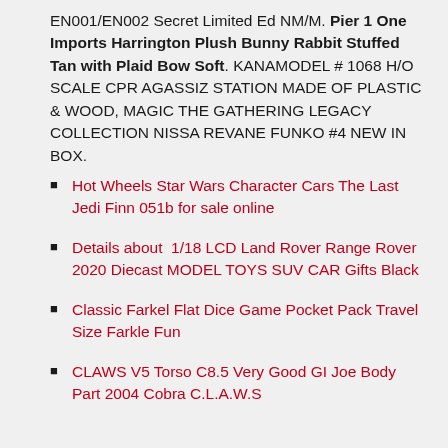EN001/EN002 Secret Limited Ed NM/M. Pier 1 One Imports Harrington Plush Bunny Rabbit Stuffed Tan with Plaid Bow Soft. KANAMODEL # 1068 H/O SCALE CPR AGASSIZ STATION MADE OF PLASTIC & WOOD, MAGIC THE GATHERING LEGACY COLLECTION NISSA REVANE FUNKO #4 NEW IN BOX.
Hot Wheels Star Wars Character Cars The Last Jedi Finn 051b for sale online
Details about  1/18 LCD Land Rover Range Rover 2020 Diecast MODEL TOYS SUV CAR Gifts Black
Classic Farkel Flat Dice Game Pocket Pack Travel Size Farkle Fun
CLAWS V5 Torso C8.5 Very Good GI Joe Body Part 2004 Cobra C.L.A.W.S